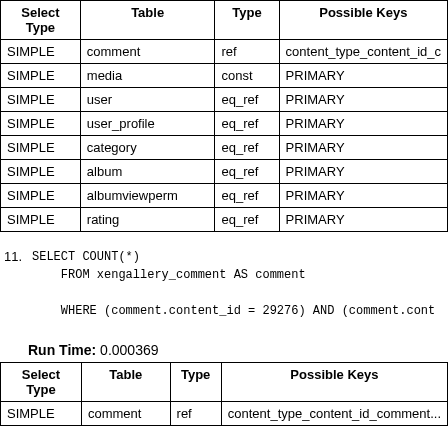| Select Type | Table | Type | Possible Keys |
| --- | --- | --- | --- |
| SIMPLE | comment | ref | content_type_content_id_c... |
| SIMPLE | media | const | PRIMARY |
| SIMPLE | user | eq_ref | PRIMARY |
| SIMPLE | user_profile | eq_ref | PRIMARY |
| SIMPLE | category | eq_ref | PRIMARY |
| SIMPLE | album | eq_ref | PRIMARY |
| SIMPLE | albumviewperm | eq_ref | PRIMARY |
| SIMPLE | rating | eq_ref | PRIMARY |
11. SELECT COUNT(*)
    FROM xengallery_comment AS comment

    WHERE (comment.content_id = 29276) AND (comment.cont...
Run Time: 0.000369
| Select Type | Table | Type | Possible Keys |
| --- | --- | --- | --- |
| SIMPLE | comment | ref | content_type_content_id_comment... |